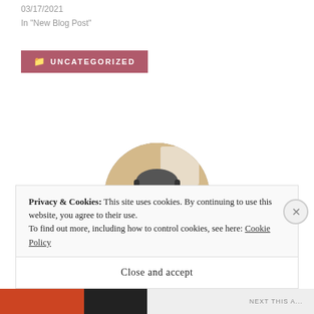03/17/2021
In "New Blog Post"
UNCATEGORIZED
[Figure (photo): Circular cropped photo of a middle-aged man with glasses, gray beard, wearing a blue hoodie sweatshirt, with headphones, mouth open smiling, in what appears to be a home studio setting]
Privacy & Cookies: This site uses cookies. By continuing to use this website, you agree to their use.
To find out more, including how to control cookies, see here: Cookie Policy
Close and accept